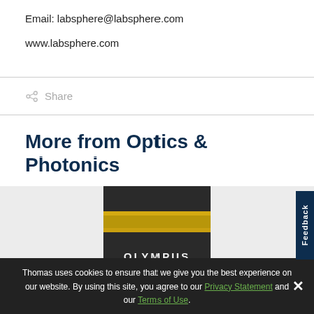Email: labsphere@labsphere.com
www.labsphere.com
Share
More from Optics & Photonics
[Figure (photo): Photograph of an Olympus MXPL microscope objective lens with gold-colored collar, against a light gray background.]
Thomas uses cookies to ensure that we give you the best experience on our website. By using this site, you agree to our Privacy Statement and our Terms of Use.